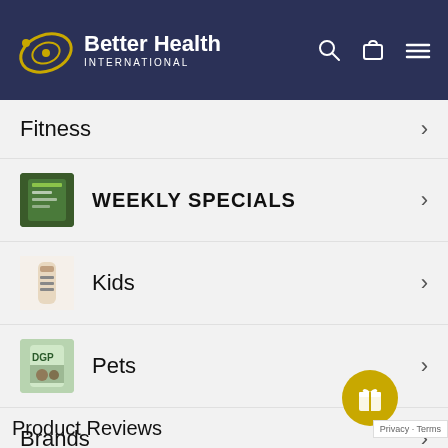[Figure (logo): Better Health International logo with orbit graphic and white text on dark navy header, plus search, cart, and hamburger icons]
Fitness >
WEEKLY SPECIALS >
Kids >
Pets >
Brands >
Product Reviews